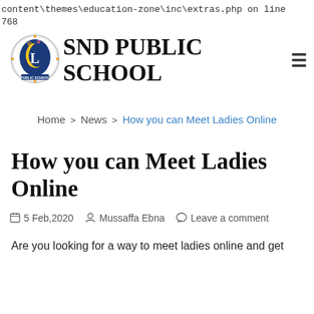content\themes\education-zone\inc\extras.php on line 768
[Figure (logo): SND Public School circular logo with 'L' monogram and decorative elements]
SND PUBLIC SCHOOL
Home > News > How you can Meet Ladies Online
How you can Meet Ladies Online
5 Feb,2020   Mussaffa Ebna   Leave a comment
Are you looking for a way to meet ladies online and get